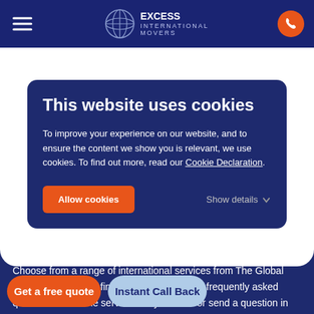Excess International Movers
This website uses cookies
To improve your experience on our website, and to ensure the content we show you is relevant, we use cookies. To find out more, read our Cookie Declaration.
Allow cookies | Show details
Choose from a range of international services from The Global Shipping Experts to find information, access frequently asked questions about the service that you need or send a question in our 'Ask an expert' feature and we will send you the answer.
Get a free quote | Instant Call Back
Baggage shipping to the UK